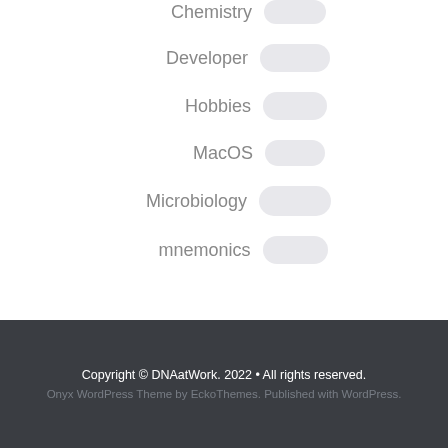Chemistry
Developer
Hobbies
MacOS
Microbiology
mnemonics
Copyright © DNAatWork. 2022 • All rights reserved.
Onyx WordPress Theme by EckoThemes. Published with WordPress.